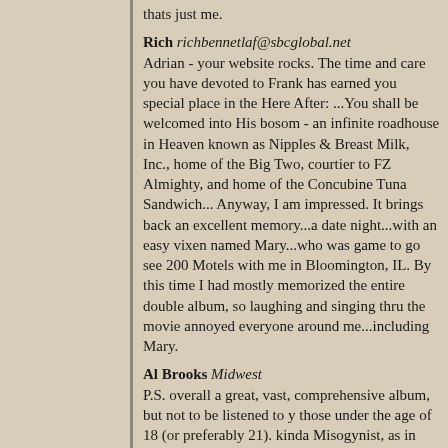thats just me.
Rich richbennetlaf@sbcglobal.net
Adrian - your website rocks. The time and care you have devoted to Frank has earned you special place in the Here After: ...You shall be welcomed into His bosom - an infinite roadhouse in Heaven known as Nipples & Breast Milk, Inc., home of the Big Two, courtier to FZ Almighty, and home of the Concubine Tuna Sandwich... Anyway, I am impressed. It brings back an excellent memory...a date night...with an easy vixen named Mary...who was game to go see 200 Motels with me in Bloomington, IL. By this time I had mostly memorized the entire double album, so laughing and singing thru the movie annoyed everyone around me...including Mary.
Al Brooks Midwest
P.S. overall a great, vast, comprehensive album, but not to be listened to y those under the age of 18 (or preferably 21). kinda Misogynist, as in deodorant spray up her twat and waiting for girls they can shove it right. This all coming on a tional best, suitable f...